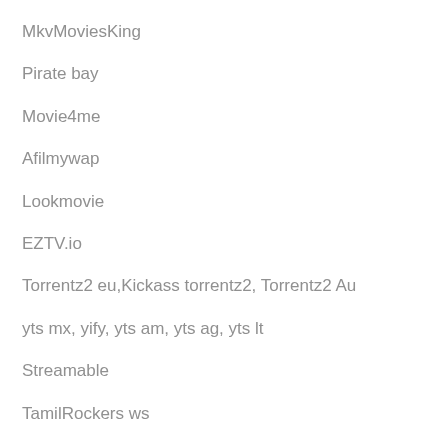MkvMoviesKing
Pirate bay
Movie4me
Afilmywap
Lookmovie
EZTV.io
Torrentz2 eu,Kickass torrentz2, Torrentz2 Au
yts mx, yify, yts am, yts ag, yts lt
Streamable
TamilRockers ws